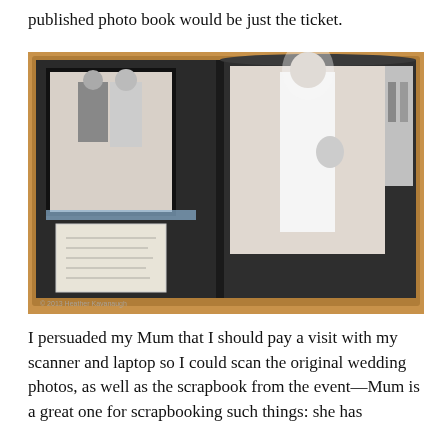published photo book would be just the ticket.
[Figure (photo): An open photo book resting on a wooden table, showing black and white wedding photographs arranged on dark pages — including a bride and groom portrait, a full-length bride photo, and a handwritten note. A watermark reads '© 2013 Heather Kavanaugh'.]
I persuaded my Mum that I should pay a visit with my scanner and laptop so I could scan the original wedding photos, as well as the scrapbook from the event—Mum is a great one for scrapbooking such things: she has